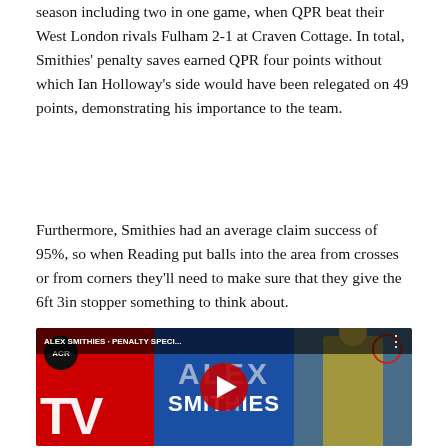season including two in one game, when QPR beat their West London rivals Fulham 2-1 at Craven Cottage. In total, Smithies' penalty saves earned QPR four points without which Ian Holloway's side would have been relegated on 49 points, demonstrating his importance to the team.
Furthermore, Smithies had an average claim success of 95%, so when Reading put balls into the area from crosses or from corners they'll need to make sure that they give the 6ft 3in stopper something to think about.
[Figure (screenshot): YouTube video thumbnail for 'ALEX SMITHIES · PENALTY SPECI...' showing ACR TV logo on red background on left, blue panel with ALEX SMITHIES text in center, and a goalkeeper in yellow kit on right with a red circle highlight around his head. A YouTube play button is overlaid in the center.]